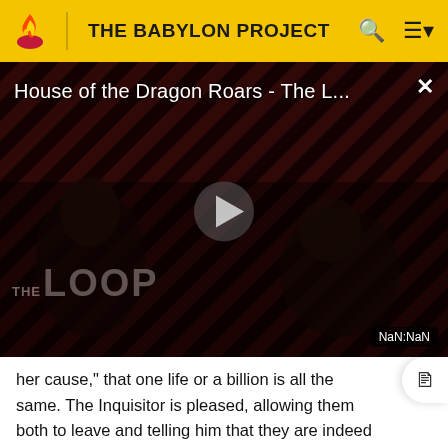THE BABYLON PROJECT
[Figure (screenshot): Video thumbnail for 'House of the Dragon Roars - The L...' with a dark diagonal striped background in red/black, silhouettes of figures, a play button in the center, 'THE LOOP' text watermark, and a NaN:NaN timer badge in the bottom right corner.]
her cause," that one life or a billion is all the same. The Inquisitor is pleased, allowing them both to leave and telling him that they are indeed "the right people."[41]
Stirred on by their victories, the Centauri Republic soon begins a series of violent campaigns against several